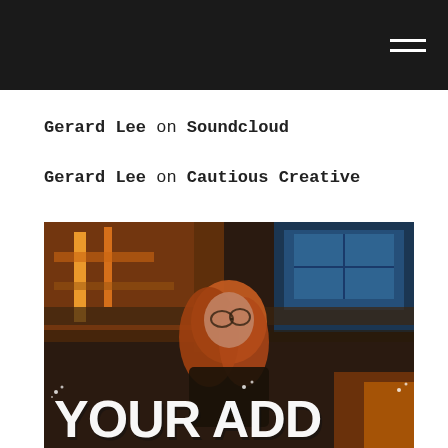Gerard Lee on Soundcloud
Gerard Lee on Cautious Creative
[Figure (photo): A woman with long reddish hair wearing glasses, shot from below against an urban backdrop with neon lights and industrial ceiling structure. Large stylized white graffiti text reads 'YOUR ADD' at the bottom of the image.]